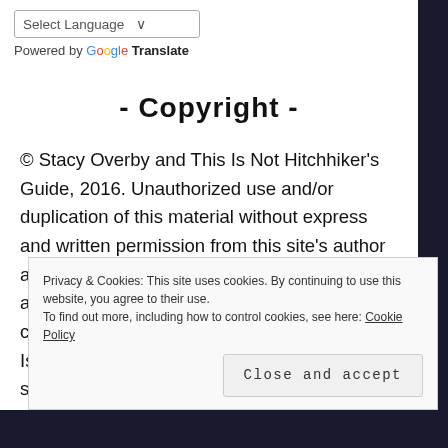Select Language ∨
Powered by Google Translate
- Copyright -
© Stacy Overby and This Is Not Hitchhiker's Guide, 2016. Unauthorized use and/or duplication of this material without express and written permission from this site's author and/or owner is strictly prohibited. Excerpts and links may be used, provided that full and clear credit is given to Stacy Overby and This Is Not Hitchhiker's Guide with appropriate and specific direction to the original content.
Privacy & Cookies: This site uses cookies. By continuing to use this website, you agree to their use. To find out more, including how to control cookies, see here: Cookie Policy
Close and accept